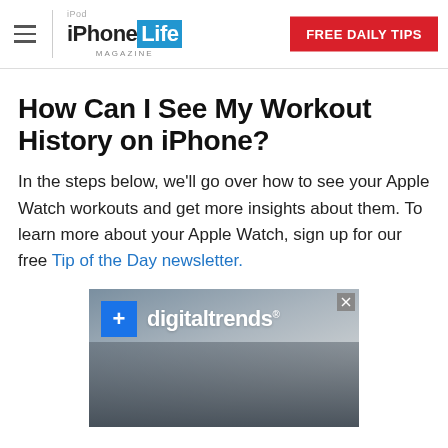iPhone Life Magazine | FREE DAILY TIPS
How Can I See My Workout History on iPhone?
In the steps below, we'll go over how to see your Apple Watch workouts and get more insights about them. To learn more about your Apple Watch, sign up for our free Tip of the Day newsletter.
[Figure (screenshot): Digital Trends advertisement banner with logo and background image of hands]